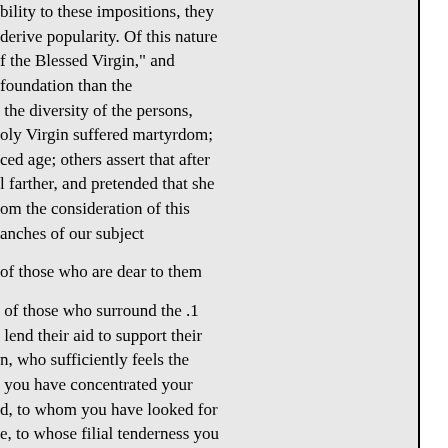bility to these impositions, they derive popularity. Of this nature f the Blessed Virgin," and foundation than the the diversity of the persons, oly Virgin suffered martyrdom; ced age; others assert that after l farther, and pretended that she om the consideration of this anches of our subject

f those who are dear to them

 of those who surround the .1 lend their aid to support their n, who sufficiently feels the you have concentrated your d, to whom you have looked for e, to whose filial tenderness you a one I appeal, to picture to his n the place of Mary, and view in mperfect idea of the mental raculously announced to her by umphant joy; that Son, whose n; she saw him, whose abode on